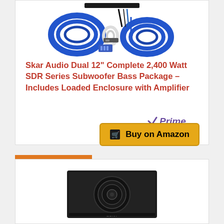[Figure (photo): Skar Audio wiring kit product image showing blue cables and connectors coiled]
Skar Audio Dual 12" Complete 2,400 Watt SDR Series Subwoofer Bass Package – Includes Loaded Enclosure with Amplifier
[Figure (logo): Amazon Prime logo with checkmark]
[Figure (other): Buy on Amazon button with cart icon]
BESTSELLER NO. 8
[Figure (photo): Sony compact subwoofer enclosure product image, black box with subwoofer driver visible]